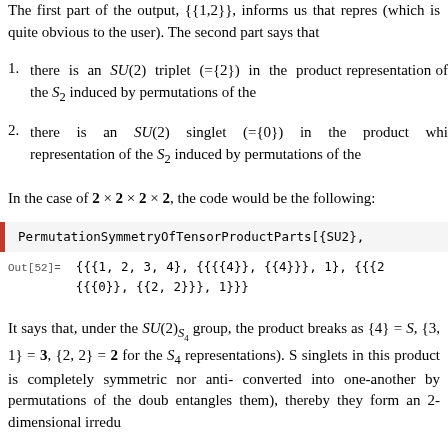The first part of the output, {{1,2}}, informs us that repres (which is quite obvious to the user). The second part says that
there is an SU(2) triplet (={2}) in the product representation of the S_2 induced by permutations of the
there is an SU(2) singlet (={0}) in the product which representation of the S_2 induced by permutations of the
In the case of 2 × 2 × 2 × 2, the code would be the following:
[Figure (screenshot): Code block showing: PermutationSymmetryOfTensorProductParts[{SU2},]
Out[52]= {{{1, 2, 3, 4}, {{{{4}}, {{4}}}, 1}, {{{2 {{{0}}, {{2, 2}}}, 1}}}
It says that, under the SU(2)_{S_4} group, the product breaks as {4} = S, {3,1} = 3, {2,2} = 2 for the S_4 representations). S singlets in this product is completely symmetric nor anti- converted into one-another by permutations of the doub entangles them), thereby they form an 2-dimensional irredu